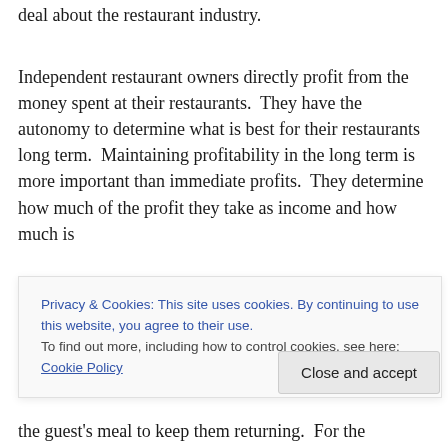deal about the restaurant industry.
Independent restaurant owners directly profit from the money spent at their restaurants.  They have the autonomy to determine what is best for their restaurants long term.  Maintaining profitability in the long term is more important than immediate profits.  They determine how much of the profit they take as income and how much is
Privacy & Cookies: This site uses cookies. By continuing to use this website, you agree to their use.
To find out more, including how to control cookies, see here: Cookie Policy
the guest's meal to keep them returning.  For the